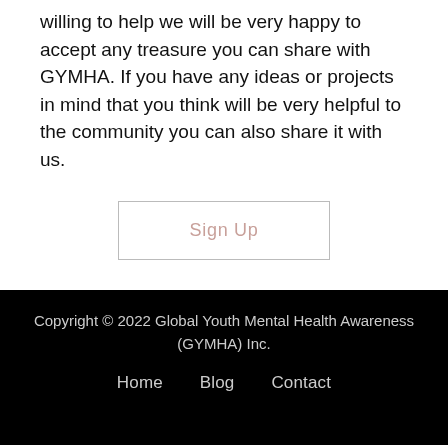willing to help we will be very happy to accept any treasure you can share with GYMHA. If you have any ideas or projects in mind that you think will be very helpful to the community you can also share it with us.
Sign Up
Copyright © 2022 Global Youth Mental Health Awareness (GYMHA) Inc.
Home   Blog   Contact